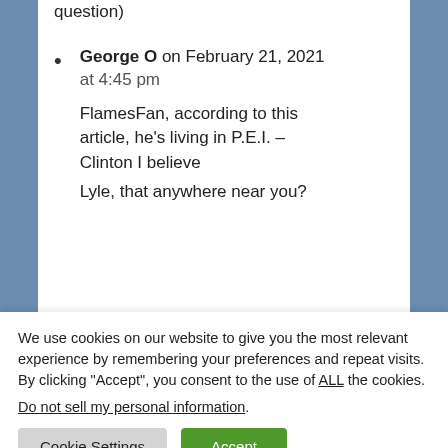question)
George O on February 21, 2021 at 4:45 pm

FlamesFan, according to this article, he's living in P.E.I. – Clinton I believe

Lyle, that anywhere near you?
We use cookies on our website to give you the most relevant experience by remembering your preferences and repeat visits. By clicking “Accept”, you consent to the use of ALL the cookies.
Do not sell my personal information.